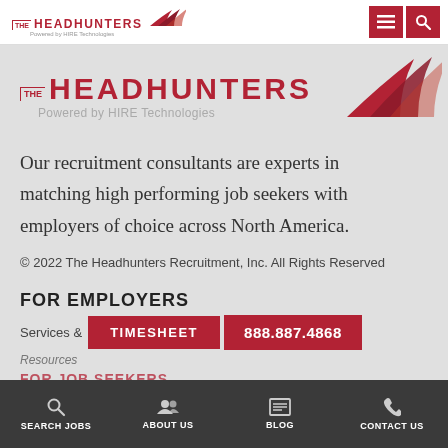THE HEADHUNTERS Powered by HIRE Technologies
[Figure (logo): The Headhunters logo with red arrow swoosh and text 'Powered by HIRE Technologies']
Our recruitment consultants are experts in matching high performing job seekers with employers of choice across North America.
© 2022 The Headhunters Recruitment, Inc. All Rights Reserved
FOR EMPLOYERS
Services &
TIMESHEET
888.887.4868
Resources
FOR JOB SEEKERS
SEARCH JOBS  ABOUT US  BLOG  CONTACT US